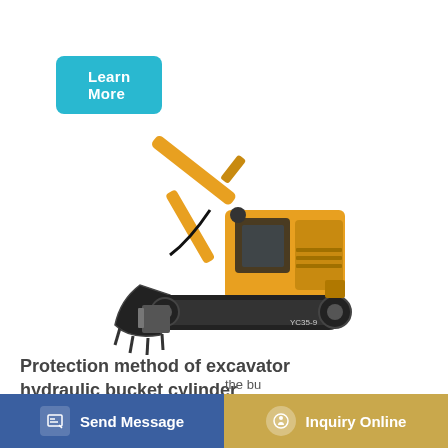Learn More
[Figure (photo): Yellow mini excavator (model YC35-9) with extended arm and bucket, shown on white background, side-angled view]
Protection method of excavator hydraulic bucket cylinder
Send Message
Inquiry Online
the bu